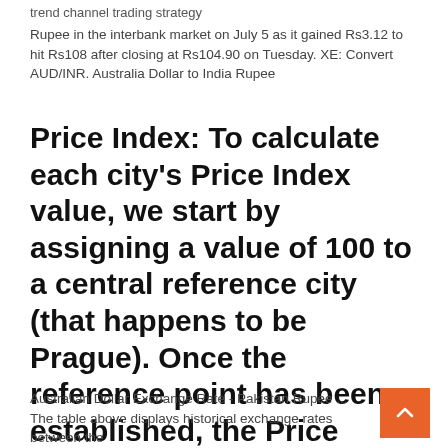trend channel trading strategy
Rupee in the interbank market on July 5 as it gained Rs3.12 to hit Rs108 after closing at Rs104.90 on Tuesday. XE: Convert AUD/INR. Australia Dollar to India Rupee
Price Index: To calculate each city's Price Index value, we start by assigning a value of 100 to a central reference city (that happens to be Prague). Once the reference point has been established, the Price Index value of every other city in the database is calculated by comparing their cost of ...
Australian Dollar Exchange Rate - Pakistan Rupee ... The table above displays historical exchange rates between the